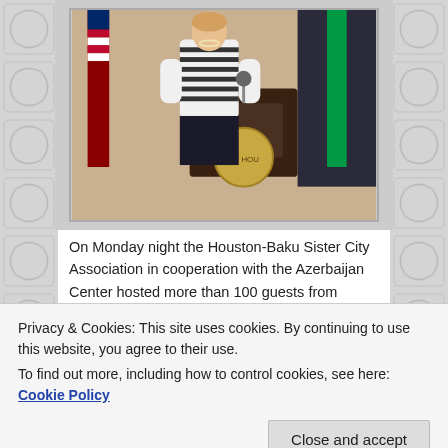[Figure (photo): Woman in striped jacket standing at a podium with an American flag and another flag visible in the background, at what appears to be Houston City Hall.]
On Monday night the Houston-Baku Sister City Association in cooperation with the Azerbaijan Center hosted more than 100 guests from Houston's international community for a reception at the historical Houston City Hall to celebrate the Anniversary of Azerbaijan's Republic Day.
[Figure (photo): Partial view of a second photo showing people at an event, cropped at the bottom of the page.]
Privacy & Cookies: This site uses cookies. By continuing to use this website, you agree to their use.
To find out more, including how to control cookies, see here: Cookie Policy
Close and accept